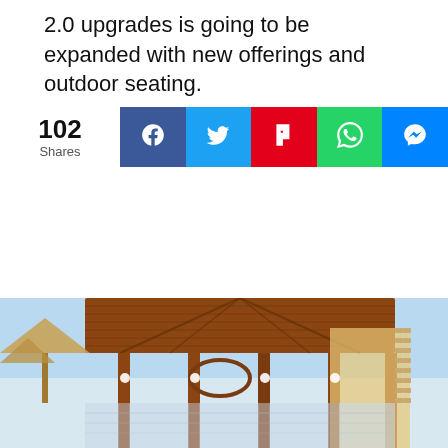2.0 upgrades is going to be expanded with new offerings and outdoor seating.
[Figure (screenshot): Social media share bar showing 102 Shares with buttons for Facebook, Twitter, Flipboard, WhatsApp, and Messenger]
[Figure (photo): Outdoor dining or resort area with a large wooden thatched roof structure, columns, and reflective floor, with umbrella seating visible on the left and interior visible on the right.]